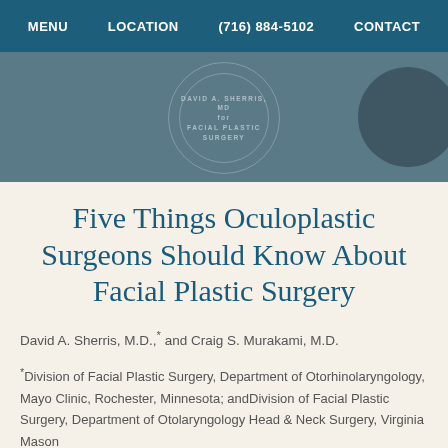MENU   LOCATION   (716) 884-5102   CONTACT
[Figure (logo): Hero banner with circular logo reading DAVID A. SHERRIS, MD / FACIAL PLASTIC SURGERY on a teal/dark background]
Five Things Oculoplastic Surgeons Should Know About Facial Plastic Surgery
David A. Sherris, M.D.,* and Craig S. Murakami, M.D.
*Division of Facial Plastic Surgery, Department of Otorhinolaryngology, Mayo Clinic, Rochester, Minnesota; andDivision of Facial Plastic Surgery, Department of Otolaryngology Head & Neck Surgery, Virginia Mason